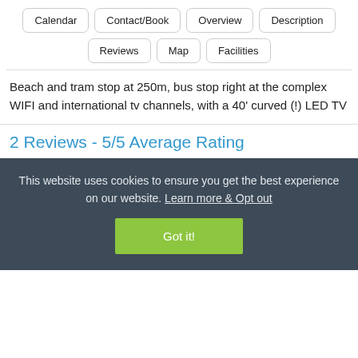Calendar | Contact/Book | Overview | Description | Reviews | Map | Facilities
Beach and tram stop at 250m, bus stop right at the complex WIFI and international tv channels, with a 40' curved (!) LED TV
2 Reviews - 5/5 Average Rating
This website uses cookies to ensure you get the best experience on our website. Learn more & Opt out
Got it!